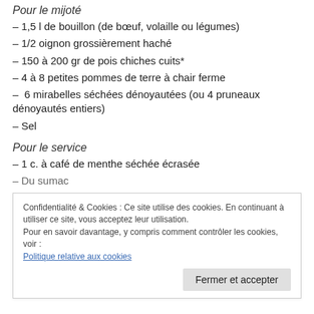Pour le mijoté
– 1,5 l de bouillon (de bœuf, volaille ou légumes)
– 1/2 oignon grossièrement haché
– 150 à 200 gr de pois chiches cuits*
– 4 à 8 petites pommes de terre à chair ferme
– 6 mirabelles séchées dénoyautées (ou 4 pruneaux dénoyautés entiers)
– Sel
Pour le service
– 1 c. à café de menthe séchée écrasée
– Du sumac
Confidentialité & Cookies : Ce site utilise des cookies. En continuant à utiliser ce site, vous acceptez leur utilisation.
Pour en savoir davantage, y compris comment contrôler les cookies, voir :
Politique relative aux cookies
Fermer et accepter